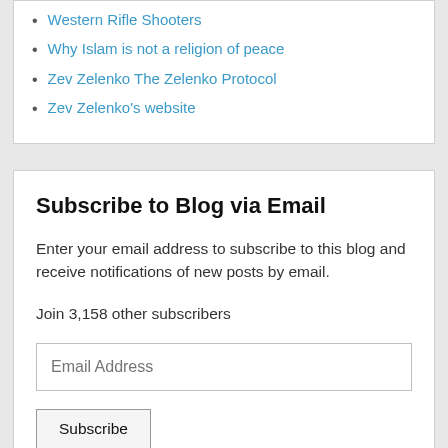Western Rifle Shooters
Why Islam is not a religion of peace
Zev Zelenko The Zelenko Protocol
Zev Zelenko's website
Subscribe to Blog via Email
Enter your email address to subscribe to this blog and receive notifications of new posts by email.
Join 3,158 other subscribers